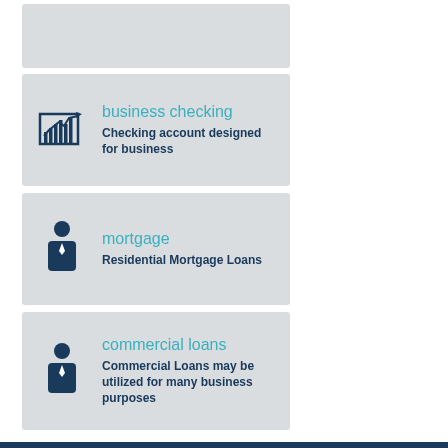[Figure (infographic): Business checking card with stock chart icon, teal title 'business checking', description 'Checking account designed for business']
[Figure (infographic): Mortgage card with person/banker icon, teal title 'mortgage', description 'Residential Mortgage Loans']
[Figure (infographic): Commercial loans card with person/banker icon, teal title 'commercial loans', description 'Commercial Loans may be utilized for many business purposes']